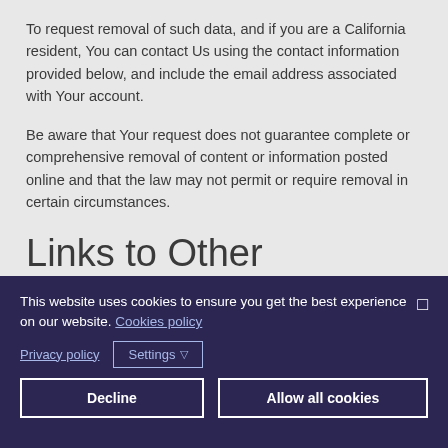To request removal of such data, and if you are a California resident, You can contact Us using the contact information provided below, and include the email address associated with Your account.
Be aware that Your request does not guarantee complete or comprehensive removal of content or information posted online and that the law may not permit or require removal in certain circumstances.
Links to Other Websites
This website uses cookies to ensure you get the best experience on our website. Cookies policy
Privacy policy | Settings
Decline | Allow all cookies